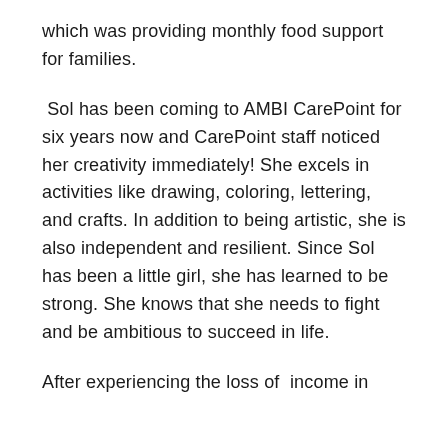which was providing monthly food support for families.
Sol has been coming to AMBI CarePoint for six years now and CarePoint staff noticed her creativity immediately! She excels in activities like drawing, coloring, lettering, and crafts. In addition to being artistic, she is also independent and resilient. Since Sol has been a little girl, she has learned to be strong. She knows that she needs to fight and be ambitious to succeed in life.
After experiencing the loss of income in